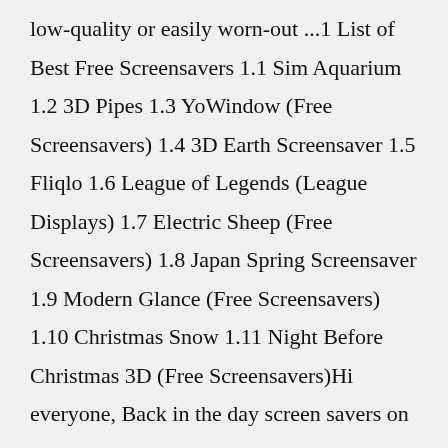low-quality or easily worn-out ...1 List of Best Free Screensavers 1.1 Sim Aquarium 1.2 3D Pipes 1.3 YoWindow (Free Screensavers) 1.4 3D Earth Screensaver 1.5 Fliqlo 1.6 League of Legends (League Displays) 1.7 Electric Sheep (Free Screensavers) 1.8 Japan Spring Screensaver 1.9 Modern Glance (Free Screensavers) 1.10 Christmas Snow 1.11 Night Before Christmas 3D (Free Screensavers)Hi everyone, Back in the day screen savers on